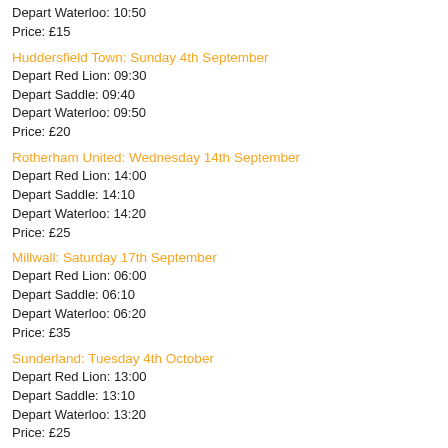Depart Waterloo: 10:50
Price: £15
Huddersfield Town: Sunday 4th September
Depart Red Lion: 09:30
Depart Saddle: 09:40
Depart Waterloo: 09:50
Price: £20
Rotherham United: Wednesday 14th September
Depart Red Lion: 14:00
Depart Saddle: 14:10
Depart Waterloo: 14:20
Price: £25
Millwall: Saturday 17th September
Depart Red Lion: 06:00
Depart Saddle: 06:10
Depart Waterloo: 06:20
Price: £35
Sunderland: Tuesday 4th October
Depart Red Lion: 13:00
Depart Saddle: 13:10
Depart Waterloo: 13:20
Price: £25